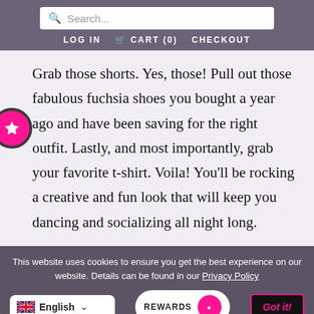Search... LOG IN  CART (0)  CHECKOUT
Grab those shorts. Yes, those! Pull out those fabulous fuchsia shoes you bought a year ago and have been saving for the right outfit. Lastly, and most importantly, grab your favorite t-shirt. Voila! You'll be rocking a creative and fun look that will keep you dancing and socializing all night long.
This website uses cookies to ensure you get the best experience on our website. Details can be found in our Privacy Policy
English
REWARDS
Got it!